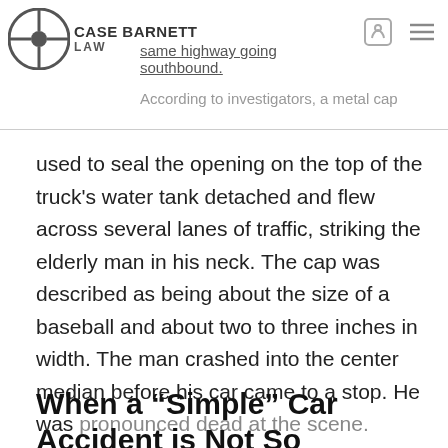same highway going southbound. According to investigators, a metal cap
used to seal the opening on the top of the truck's water tank detached and flew across several lanes of traffic, striking the elderly man in his neck. The cap was described as being about the size of a baseball and about two to three inches in width. The man crashed into the center median before his car came to a stop. He was pronounced dead at the scene.
When a “Simple” Car Accident is Not So